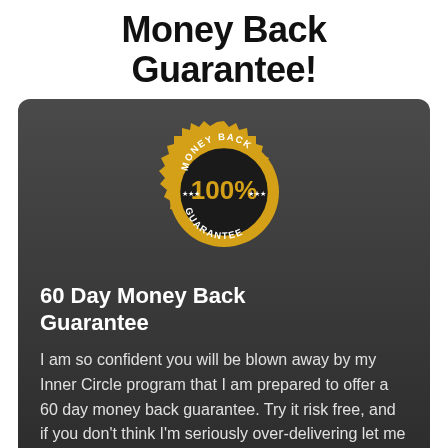Money Back Guarantee!
[Figure (illustration): Round gold seal/badge with serrated edge, dark center circle with '100%' in gold text, 'MONEY BACK' text arcing along the top and 'GUARANTEE' arcing along the bottom, with small star decorations]
60 Day Money Back Guarantee
I am so confident you will be blown away by my Inner Circle program that I am prepared to offer a 60 day money back guarantee. Try it risk free, and if you don't think I'm seriously over-delivering let me know within 30 days for a full